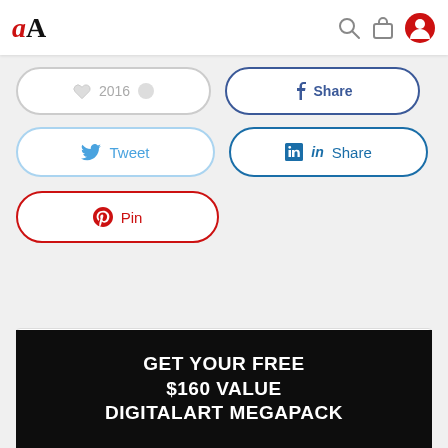aA [logo] with search, cart, and user icons
[Figure (screenshot): Social share buttons row: Love (2016) and Facebook Share buttons (partially clipped at top)]
[Figure (screenshot): Social share buttons row: Tweet (Twitter) and Share (LinkedIn)]
[Figure (screenshot): Pinterest Pin button]
Search here..
[Figure (infographic): GET YOUR FREE $160 VALUE DIGITALART MEGAPACK promotional banner on dark background]